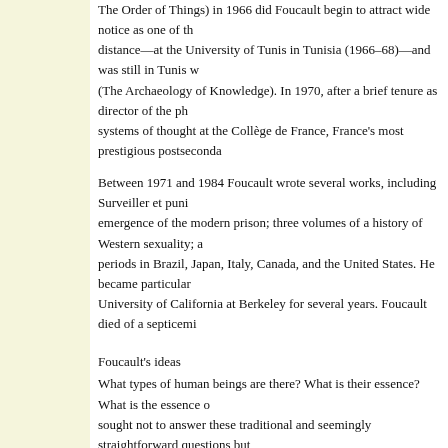The Order of Things) in 1966 did Foucault begin to attract wide notice as one of the distance—at the University of Tunis in Tunisia (1966–68)—and was still in Tunis w (The Archaeology of Knowledge). In 1970, after a brief tenure as director of the ph systems of thought at the Collège de France, France's most prestigious postseconda
Between 1971 and 1984 Foucault wrote several works, including Surveiller et puni emergence of the modern prison; three volumes of a history of Western sexuality; a periods in Brazil, Japan, Italy, Canada, and the United States. He became particular University of California at Berkeley for several years. Foucault died of a septicemi
Foucault's ideas
What types of human beings are there? What is their essence? What is the essence sought not to answer these traditional and seemingly straightforward questions but skepticism toward those responses—among them, race, the unity of reason or the p the 19th century. He argued that such commonplaces informed both Hegelian pheno physical anthropology, clinical medicine, psychology, sociology, and criminology c humaines, or "the human sciences."
Several of the philosophers of the Anglo-American positivist tradition, among them methodological rigour of mathematics or physics. Foucault found fault with them a provided an exclusive standard for arriving at genuine or legitimate knowledge. His inquiry in the human sciences: the concept of "man." The man of this inquiry was a essence. On one hand, man was an object, like any other object in the natural world agent uniquely capable of comprehending and altering his worldly condition in ord evidence that such a concept actually had a consistent bottom to it. In this